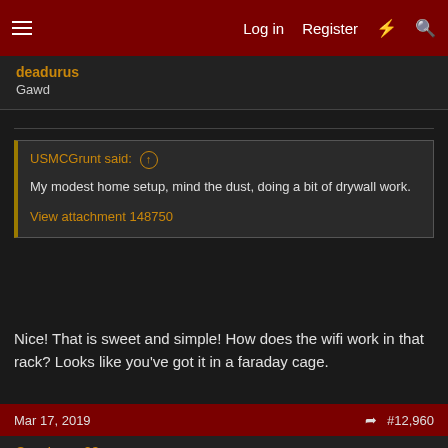Log in  Register  #12,960
deadurus
Gawd
USMCGrunt said: ↑
My modest home setup, mind the dust, doing a bit of drywall work.
View attachment 148750
Nice! That is sweet and simple! How does the wifi work in that rack? Looks like you've got it in a faraday cage.
Mar 17, 2019  #12,960
Spartacus09
[H]ard|Gawd
Before